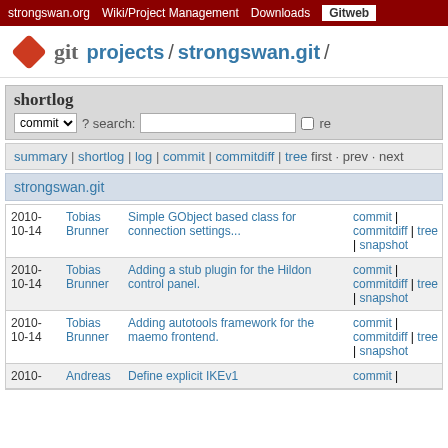strongswan.org | Wiki/Project Management | Downloads | Gitweb
git projects / strongswan.git /
shortlog
commit ? search: [text input] re [checkbox]
summary | shortlog | log | commit | commitdiff | tree first · prev · next
strongswan.git
| Date | Author | Message | Links |
| --- | --- | --- | --- |
| 2010-10-14 | Tobias Brunner | Simple GObject based class for connection settings... | commit | commitdiff | tree | snapshot |
| 2010-10-14 | Tobias Brunner | Adding a stub plugin for the Hildon control panel. | commit | commitdiff | tree | snapshot |
| 2010-10-14 | Tobias Brunner | Adding autotools framework for the maemo frontend. | commit | commitdiff | tree | snapshot |
| 2010- | Andreas | Define explicit IKEv1 | commit | |